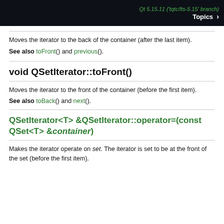Qt 5.15.11 ('tqtc/lts-5.15' branch) Topics >
Moves the iterator to the back of the container (after the last item).
See also toFront() and previous().
void QSetIterator::toFront()
Moves the iterator to the front of the container (before the first item).
See also toBack() and next().
QSetIterator<T> &QSetIterator::operator=(const QSet<T> &container)
Makes the iterator operate on set. The iterator is set to be at the front of the set (before the first item).